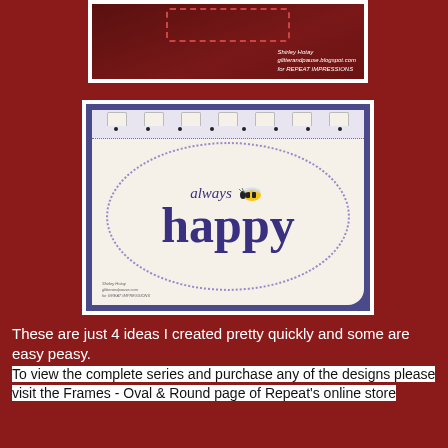[Figure (photo): Top partial photo of a handmade card on dark red background with watermark text reading 'Shirley Hotay, glitterandpause.blogspot.com, for REPEAT IMPRESSIONS']
[Figure (photo): Handmade greeting card with 'always happy' text and a bee illustration. Card has purple border, decorative tab top edge with dots, and an oval dotted frame around the text. 'always' in italic script, 'happy' in large bold purple letters.]
These are just 4 ideas I created pretty quickly and some are easy peasy. To view the complete series and purchase any of the designs please visit the Frames - Oval & Round page of Repeat's online store